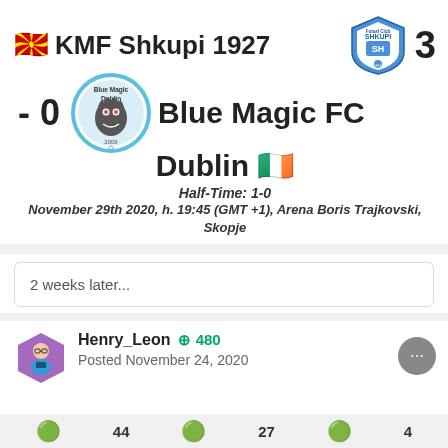🇲🇰 KMF Shkupi 1927  3
- 0  Blue Magic FC Dublin 🇮🇪
Half-Time: 1-0
November 29th 2020, h. 19:45 (GMT +1), Arena Boris Trajkovski, Skopje
2 weeks later...
Henry_Leon +480
Posted November 24, 2020